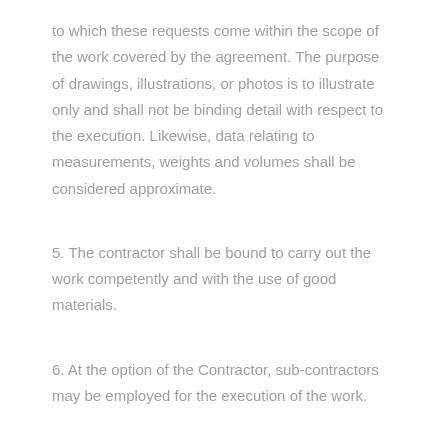to which these requests come within the scope of the work covered by the agreement. The purpose of drawings, illustrations, or photos is to illustrate only and shall not be binding detail with respect to the execution. Likewise, data relating to measurements, weights and volumes shall be considered approximate.
5. The contractor shall be bound to carry out the work competently and with the use of good materials.
6. At the option of the Contractor, sub-contractors may be employed for the execution of the work.